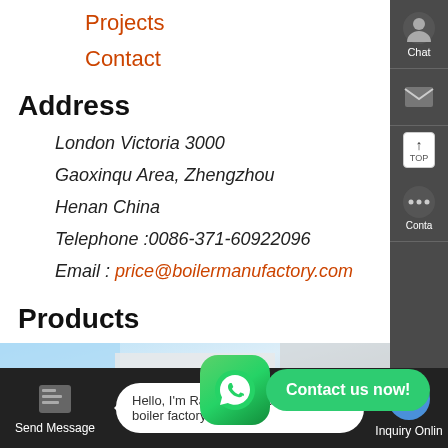Projects
Contact
Address
London Victoria 3000
Gaoxinqu Area, Zhengzhou
Henan China
Telephone :0086-371-60922096
Email : price@boilermanufactory.com
Products
[Figure (photo): Boiler products photo showing industrial equipment]
[Figure (infographic): WhatsApp contact button with 'Contact us now!' bubble]
Hello, I'm Rachel, Welcome! we are boiler factory!
Send Message
Inquiry Online